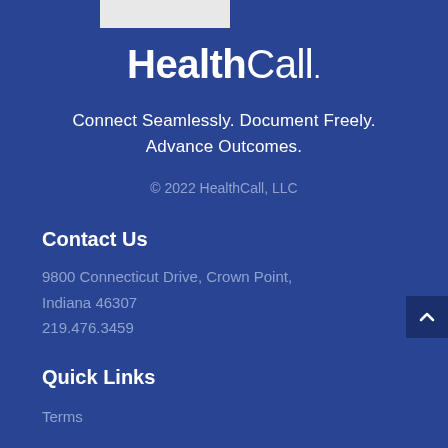[Figure (logo): HealthCall logo in white text on dark blue background — 'Health' bold, 'Call.' light weight — with a light grey rectangle bar above it]
Connect Seamlessly. Document Freely. Advance Outcomes.
© 2022 HealthCall, LLC
Contact Us
9800 Connecticut Drive, Crown Point, Indiana 46307
219.476.3459
Quick Links
Terms